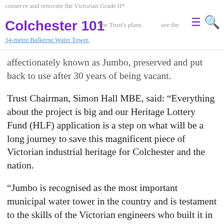conserve and renovate the Victorian Grade II* Colchester 101 The Trust's plans ≡ 🔍 see the 34-metre Balkerne Water Tower,
affectionately known as Jumbo, preserved and put back to use after 30 years of being vacant.
Trust Chairman, Simon Hall MBE, said: “Everything about the project is big and our Heritage Lottery Fund (HLF) application is a step on what will be a long journey to save this magnificent piece of Victorian industrial heritage for Colchester and the nation.
“Jumbo is recognised as the most important municipal water tower in the country and is testament to the skills of the Victorian engineers who built it in 1883. Since it ceased to be used as a water tower in 1987, it has sadly been standing idle and in 1993 it was put on the national Buildings at Risk register.